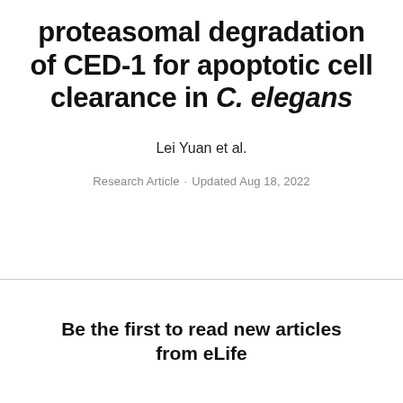proteasomal degradation of CED-1 for apoptotic cell clearance in C. elegans
Lei Yuan et al.
Research Article · Updated Aug 18, 2022
Be the first to read new articles from eLife